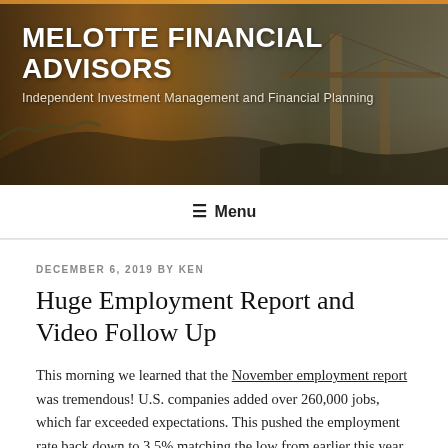MELOTTE FINANCIAL ADVISORS
Independent Investment Management and Financial Planning
Menu
DECEMBER 6, 2019 BY KEN
Huge Employment Report and Video Follow Up
This morning we learned that the November employment report was tremendous! U.S. companies added over 260,000 jobs, which far exceeded expectations. This pushed the employment rate back down to 3.5% matching the low from earlier this year, which is the lowest since 1969.